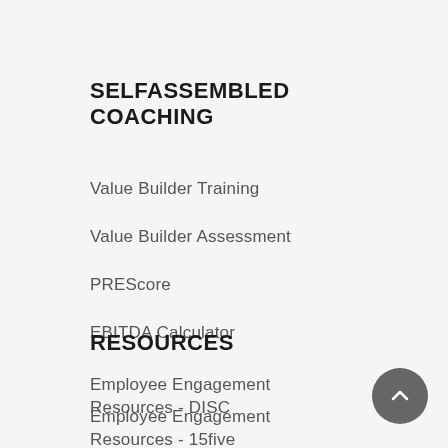SELFASSEMBLED COACHING
Value Builder Training
Value Builder Assessment
PREScore
EBITDA Calculator
RESOURCES
Employee Engagement Resources - DISC
Employee Engagement Resources - 15five
The Entrepreneurs' Experience Podcast